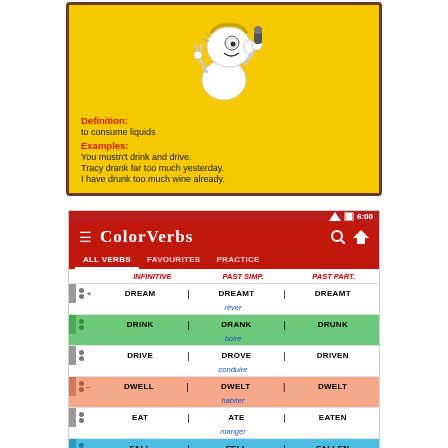[Figure (screenshot): Flashcard app showing a cartoon character drinking, with definition and examples for the verb 'drink']
Definition:
to consume liquids
Examples:
You mustn't drink and drive.
Tracy drank far too much yesterday.
I have drunk too much wine already.
[Figure (screenshot): ColorVerbs app screenshot showing a list of irregular English verbs with infinitive, past simple, past participle columns, and French translations: DREAM/DREAMT/DREAMT (rêver), DRINK/DRANK/DRUNK (boire), DRIVE/DROVE/DRIVEN (conduire), DWELL/DWELT/DWELT (habiter), EAT/ATE/EATEN (manger), FALL/FELL/FALLEN (tomber), FEED/FED/FED (nourrir), FEEL/FELT/FELT (sentir, éprouver), FIGHT/FOUGHT/FOUGHT (battre, combattre)]
| INFINITIVE | PAST SIMP. | PAST PART. |
| --- | --- | --- |
| DREAM | DREAMT | DREAMT |
| DRINK | DRANK | DRUNK |
| DRIVE | DROVE | DRIVEN |
| DWELL | DWELT | DWELT |
| EAT | ATE | EATEN |
| FALL | FELL | FALLEN |
| FEED | FED | FED |
| FEEL | FELT | FELT |
| FIGHT | FOUGHT | FOUGHT |